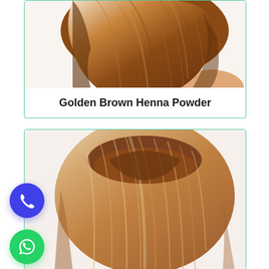[Figure (photo): Photo of the back of a head with golden brown straight hair, shown from slightly above, inside a teal-bordered card.]
Golden Brown Henna Powder
[Figure (photo): Photo of the top/back of a head with light golden brown straight hair, shown from slightly above, inside a teal-bordered card. A blue phone call button and a green WhatsApp button are overlaid on the left side.]